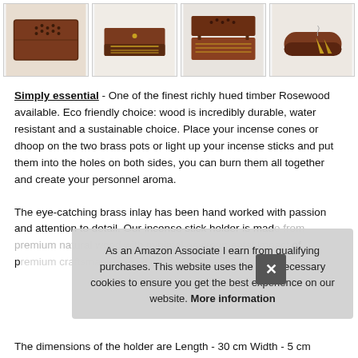[Figure (photo): Four thumbnail images of a wooden rosewood incense box/holder with brass inlay, shown from different angles: closed, open from front, open from top, and with incense cones.]
Simply essential - One of the finest richly hued timber Rosewood available. Eco friendly choice: wood is incredibly durable, water resistant and a sustainable choice. Place your incense cones or dhoop on the two brass pots or light up your incense sticks and put them into the holes on both sides, you can burn them all together and create your personnel aroma.
The eye-catching brass inlay has been hand worked with passion and attention to detail. Our incense stick holder is made from premium wood with minimal environmental impact of p...
As an Amazon Associate I earn from qualifying purchases. This website uses the only necessary cookies to ensure you get the best experience on our website. More information
The dimensions of the holder are Length - 30 cm Width - 5 cm